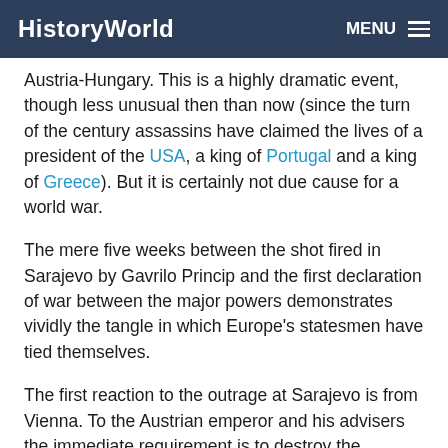HistoryWorld   MENU
Austria-Hungary. This is a highly dramatic event, though less unusual then than now (since the turn of the century assassins have claimed the lives of a president of the USA, a king of Portugal and a king of Greece). But it is certainly not due cause for a world war.
The mere five weeks between the shot fired in Sarajevo by Gavrilo Princip and the first declaration of war between the major powers demonstrates vividly the tangle in which Europe's statesmen have tied themselves.
The first reaction to the outrage at Sarajevo is from Vienna. To the Austrian emperor and his advisers the immediate requirement is to destroy the influence of Serbia, the mainstay of Slav resistance to Austria-Hungary in the Balkans. But the danger is that an invasion of Serbia